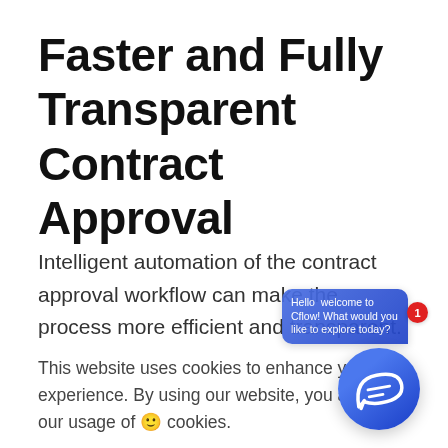Faster and Fully Transparent Contract Approval
Intelligent automation of the contract approval workflow can make the process more efficient and transparent. Automating the contract approval process streamlines the steps leading to approval. Approval
This website uses cookies to enhance your experience. By using our website, you accept our usage of cookies.
[Figure (screenshot): Chat widget overlay showing a chat bubble with a wave/flow icon in blue, a popup saying 'Hello welcome to Cflow! What would you like to explore today?', and a red notification badge showing '1'.]